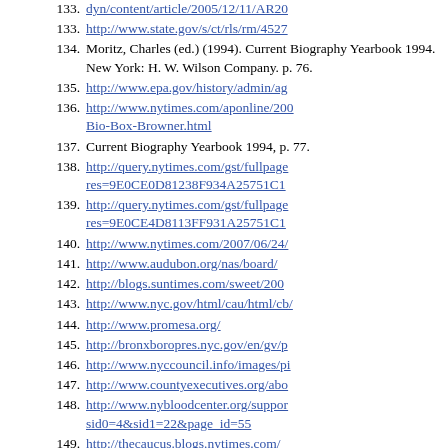133. http://www.state.gov/s/ct/rls/rm/4527
134. Moritz, Charles (ed.) (1994). Current Biography Yearbook 1994. New York: H. W. Wilson Company. p. 76.
135. http://www.epa.gov/history/admin/ag
136. http://www.nytimes.com/aponline/200 Bio-Box-Browner.html
137. Current Biography Yearbook 1994, p. 77.
138. http://query.nytimes.com/gst/fullpage res=9E0CE0D81238F934A25751C1
139. http://query.nytimes.com/gst/fullpage res=9E0CE4D8113FF931A25751C1
140. http://www.nytimes.com/2007/06/24/
141. http://www.audubon.org/nas/board/
142. http://blogs.suntimes.com/sweet/200
143. http://www.nyc.gov/html/cau/html/cb/
144. http://www.promesa.org/
145. http://bronxboropres.nyc.gov/en/gv/p
146. http://www.nyccouncil.info/images/pi
147. http://www.countyexecutives.org/abo
148. http://www.nybloodcenter.org/support sid0=4&sid1=22&page_id=55
149. http://thecaucus.blogs.nytimes.com/ house-names-two-new-york-officials-to-administration/
150. http://investigativereportingworkshop portfolio/story/details-deparles-